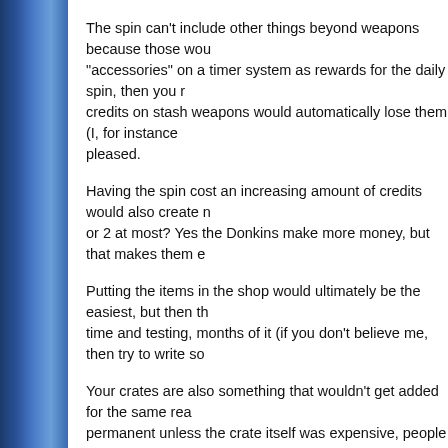The spin can't include other things beyond weapons because those wou... "accessories" on a timer system as rewards for the daily spin, then you r... credits on stash weapons would automatically lose them (I, for instance... pleased.
Having the spin cost an increasing amount of credits would also create n... or 2 at most? Yes the Donkins make more money, but that makes them e...
Putting the items in the shop would ultimately be the easiest, but then th... time and testing, months of it (if you don't believe me, then try to write so...
Your crates are also something that wouldn't get added for the same rea... permanent unless the crate itself was expensive, people wouldn't want t...
This brings me to the "luck" and the rarity system. They've already got th... "luck" part is already programmed into their RNG for both the daily spin a...
Ultimately, while this thread has good individual ideas, they don't work to... their own merit, not the merit of the ideas combined into the whole of this...
[Figure (illustration): Bottom banner image with red/dark background showing stylized gold metallic text logo with yellow star burst graphic elements on the left side]